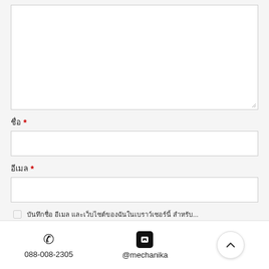[Figure (screenshot): Large textarea input box (comment/message field), empty white box with resize handle]
ชื่อ *
[Figure (screenshot): Text input box for name field, empty white box]
อีเมล *
[Figure (screenshot): Text input box for email field, empty white box]
บันทึกชื่อ อีเมล และเว็บไซต์ของฉันในเบราว์เซอร์นี้ สำหรับ...
088-008-2305   @mechanika